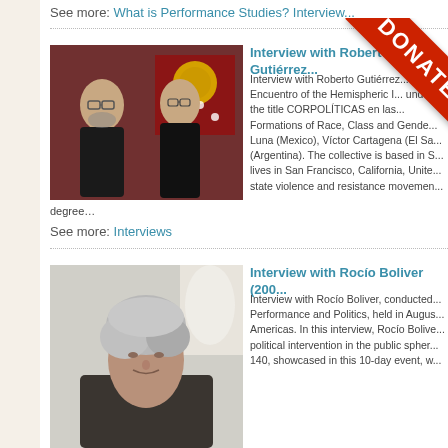See more: What is Performance Studies? Interview...
[Figure (photo): Two people seated side by side in front of a red wall with artwork. Person on left is a man wearing glasses and dark clothing. Person on right is a woman wearing glasses and a dark jacket.]
Interview with Roberto Gutiérrez...
Interview with Roberto Gutiérrez... 6th Encuentro of the Hemispheric I... under the title CORPOLÍTICAS en las... Formations of Race, Class and Gende... Luna (Mexico), Víctor Cartagena (El Sa... (Argentina). The collective is based in S... lives in San Francisco, California, Unite... state violence and resistance movemen...
degree…
See more: Interviews
[Figure (photo): Close-up portrait of a woman with short silver/gray hair, facing the camera, against a light background with a lamp visible.]
Interview with Rocío Boliver (200...
Interview with Rocío Boliver, conducted... Performance and Politics, held in Augus... Americas. In this interview, Rocío Bolive... political intervention in the public spher... 140, showcased in this 10-day event, w...